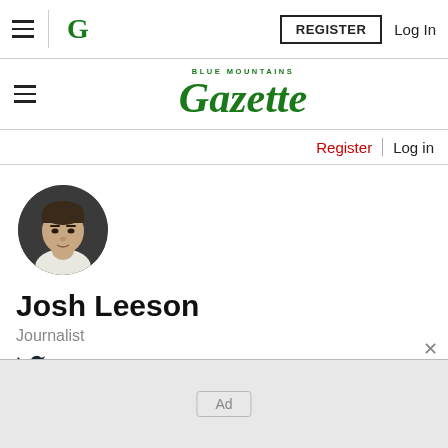REGISTER  Log In
BLUE MOUNTAINS Gazette
Register | Log in
[Figure (photo): Circular profile photo of Josh Leeson, a man in a white shirt against a dark background]
Josh Leeson
Journalist
[Figure (illustration): Twitter bird icon]
Ad